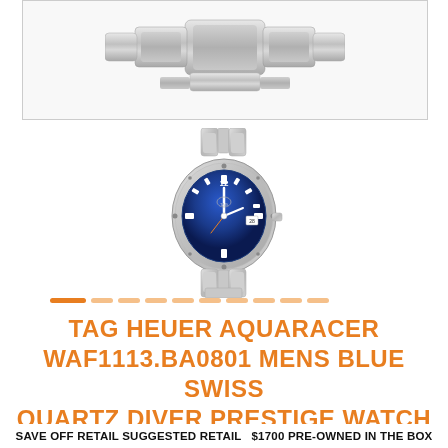[Figure (photo): Close-up of a stainless steel watch bracelet/clasp, partial view, shown at top of page in a bordered box]
[Figure (photo): TAG Heuer Aquaracer watch with blue dial and stainless steel bracelet, full front view]
TAG HEUER AQUARACER WAF1113.BA0801 MENS BLUE SWISS QUARTZ DIVER PRESTIGE WATCH
SAVE OFF RETAIL SUGGESTED RETAIL $1700 PRE-OWNED IN THE BOX